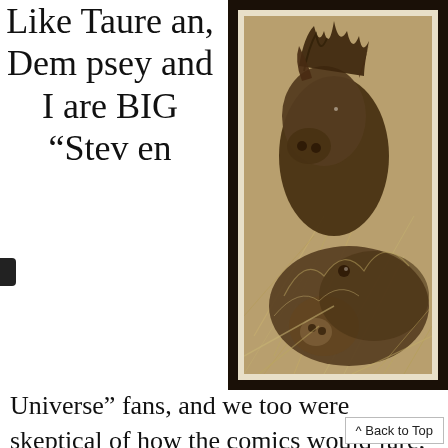Like Taurean, Dempsey and I are BIG “Steven Universe” fans, and we too were skeptical of how the comics would fare, but after Taurean read/vouched
[Figure (photo): Sepia-toned photograph of two wild boars (javelinas) nuzzling together in dry grass/hay, in a dark brown frame with cream mat.]